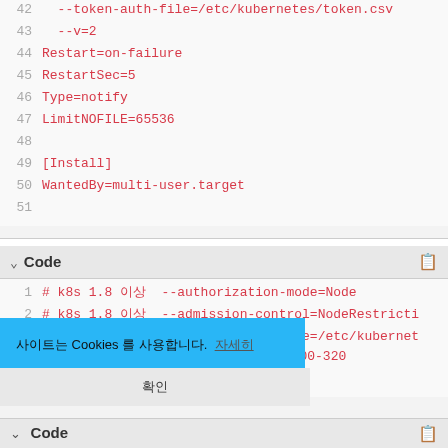[Figure (screenshot): Code block continuation showing lines 42-51 of a Kubernetes systemd unit file with red monospace text on light gray background. Lines 42-43 show token-auth-file and v=2 flags, lines 44-47 show service config (Restart=on-failure, RestartSec=5, Type=notify, LimitNOFILE=65536), line 48 is blank, lines 49-50 show [Install] section with WantedBy=multi-user.target, line 51 is blank.]
[Figure (screenshot): Second code block with header 'Code' and copy icon, showing lines 1-4 with red monospace text. Line 1: # k8s 1.8 이상 --authorization-mode=Node, Line 2: # k8s 1.8 이상 --admission-control=NodeRestricti..., Line 3: # k8s 1.8 이상 --audit-policy-file=/etc/kubernet..., Line 4 blank. A blue cookie banner overlays the bottom-left, showing Korean text about Cookies with a link. Below is a gray confirm bar with Korean text '확인'. At very bottom is another 'Code' header partially visible.]